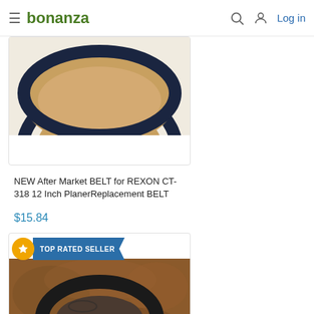bonanza — Log in
[Figure (photo): Partial product image of a belt/ring on light background, top portion shown]
NEW After Market BELT for REXON CT-318 12 Inch PlanerReplacement BELT
$15.84
[Figure (photo): Product listing card with TOP RATED SELLER badge showing a black rubber belt/ring on a brown textured background]
NEW BELT After Market GMC Global